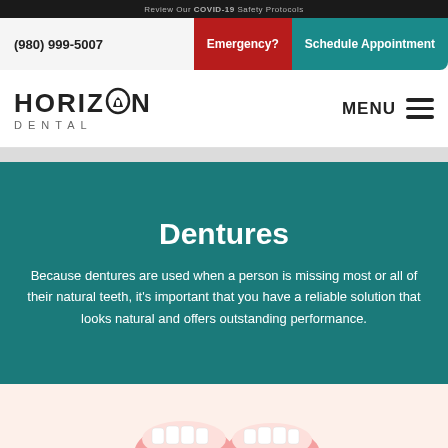Review Our COVID-19 Safety Protocols
(980) 999-5007  Emergency?  Schedule Appointment
[Figure (logo): Horizon Dental logo with tooth icon in the letter O]
Dentures
Because dentures are used when a person is missing most or all of their natural teeth, it's important that you have a reliable solution that looks natural and offers outstanding performance.
[Figure (photo): Partial view of dentures at bottom of page]